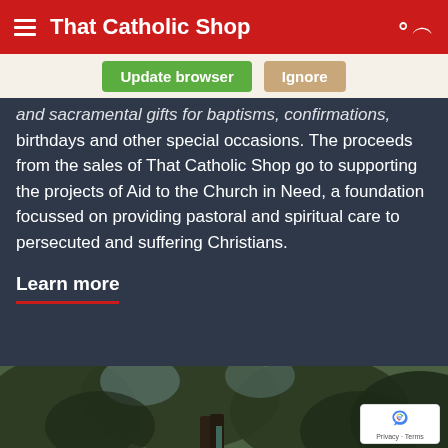That Catholic Shop
Update browser   Ignore
and sacramental gifts for baptisms, confirmations, birthdays and other special occasions. The proceeds from the sales of That Catholic Shop go to supporting the projects of Aid to the Church in Need, a foundation focussed on providing pastoral and spiritual care to persecuted and suffering Christians.
Learn more
[Figure (photo): Photo of large tree with twisted branches against sky, with a cross/statue visible in the lower center]
Privacy · Terms